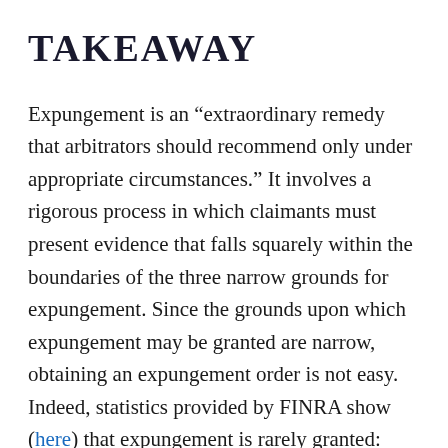Takeaway
Expungement is an “extraordinary remedy that arbitrators should recommend only under appropriate circumstances.” It involves a rigorous process in which claimants must present evidence that falls squarely within the boundaries of the three narrow grounds for expungement. Since the grounds upon which expungement may be granted are narrow, obtaining an expungement order is not easy. Indeed, statistics provided by FINRA show (here) that expungement is rarely granted: only 4% of the customer dispute disclosures in the CRD during the period 2015-2020 were expunged pursuant to a